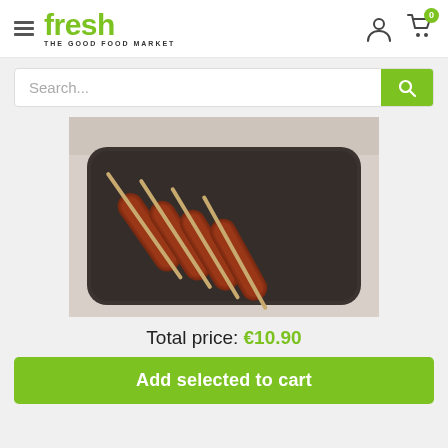fresh THE GOOD FOOD MARKET
Search...
[Figure (photo): Four spiced meat kebabs on wooden skewers arranged on a dark wooden serving board, photographed from above on a light stone surface.]
Total price: €10.90
Add selected to cart